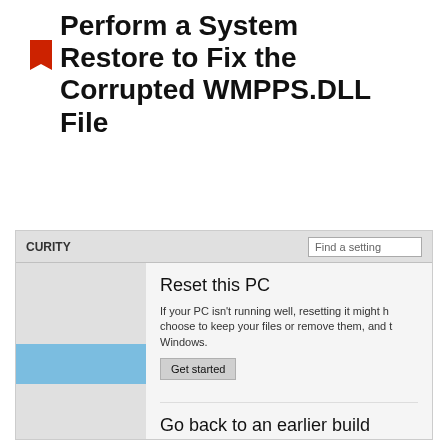Perform a System Restore to Fix the Corrupted WMPPS.DLL File
[Figure (screenshot): Windows 10 Settings screenshot showing Update & Security panel with 'Reset this PC' and 'Go back to an earlier build' sections, each with 'Get started' buttons. A blue highlighted item is visible in the left navigation panel.]